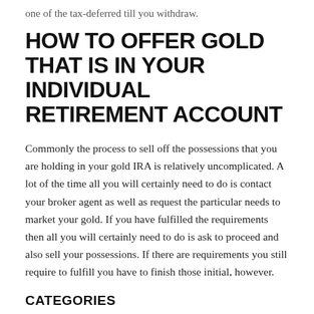one of the tax-deferred till you withdraw.
HOW TO OFFER GOLD THAT IS IN YOUR INDIVIDUAL RETIREMENT ACCOUNT
Commonly the process to sell off the possessions that you are holding in your gold IRA is relatively uncomplicated. A lot of the time all you will certainly need to do is contact your broker agent as well as request the particular needs to market your gold. If you have fulfilled the requirements then all you will certainly need to do is ask to proceed and also sell your possessions. If there are requirements you still require to fulfill you have to finish those initial, however.
CATEGORIES